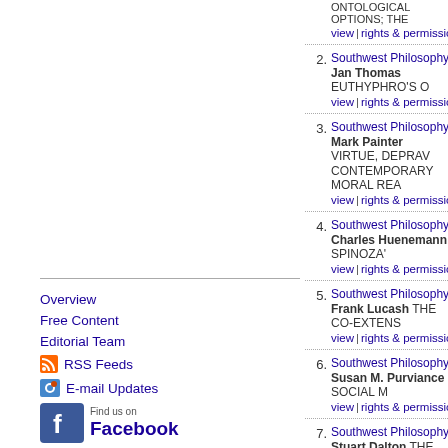1. Southwest Philosophy Review: ... view | rights & permissions | cite
2. Southwest Philosophy Review: V... Jan Thomas EUTHYPHRO'S O... view | rights & permissions | cite
3. Southwest Philosophy Review: V... Mark Painter VIRTUE, DEPRAV... CONTEMPORARY MORAL REA... view | rights & permissions | cite
4. Southwest Philosophy Review: V... Charles Huenemann SPINOZA'... view | rights & permissions | cite
5. Southwest Philosophy Review: V... Frank Lucash THE CO-EXTENS... view | rights & permissions | cite
6. Southwest Philosophy Review: V... Susan M. Purviance SOCIAL M... view | rights & permissions | cite
7. Southwest Philosophy Review: V... Stuart Dalton THE GENERAL W... CONTRACT view | rights & permissions | cite
Overview
Free Content
Editorial Team
RSS Feeds
E-mail Updates
Find us on Facebook
Special Issues
About the Society
Indexing / Abstracting
Submission Guidelines
Rights & Permissions